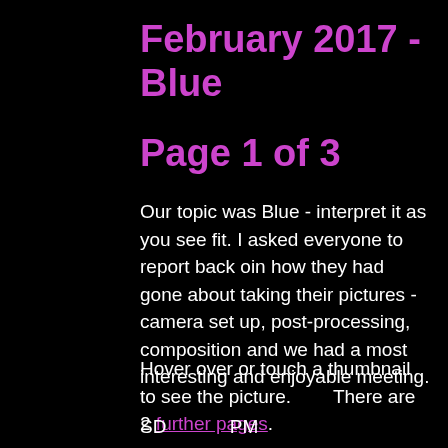February 2017 - Blue
Page 1 of 3
Our topic was Blue - interpret it as you see fit. I asked everyone to report back oin how they had gone about taking their pictures - camera set up, post-processing, composition and we had a most interesting and enjoyable meeting.
Hover over or touch a thumbnail to see the picture.        There are 2 further pages.
SD          PM